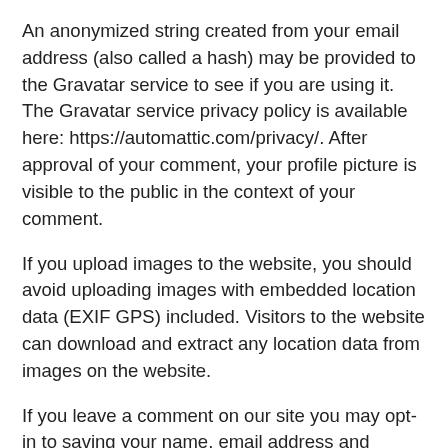An anonymized string created from your email address (also called a hash) may be provided to the Gravatar service to see if you are using it. The Gravatar service privacy policy is available here: https://automattic.com/privacy/. After approval of your comment, your profile picture is visible to the public in the context of your comment.
If you upload images to the website, you should avoid uploading images with embedded location data (EXIF GPS) included. Visitors to the website can download and extract any location data from images on the website.
If you leave a comment on our site you may opt-in to saving your name, email address and website in cookies. These are for your convenience so that you do not have to fill in your details again when you leave another comment. These cookies will last for one year.
If you have an account and you log in to this site, we will set a temporary cookie to determine if your browser accepts cookies. This cookie contains no personal data and is discarded when you close your browser.